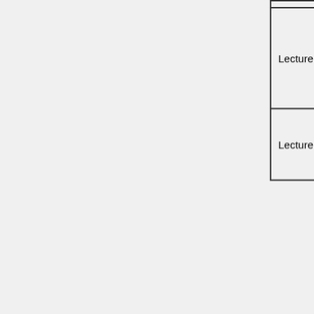| Lecture | Topics | Resources |
| --- | --- | --- |
| Lecture 3 | Control design for downstream control; distributed control of complex irrigation networks; security of cyber-physical systems; detection of non-technical losses; | Control Engineering in Water Resources (3 parts)
Handout 3 |
| Lecture 4 | Agricultural profile of Pakistan; elements of Green revolution; ICT driven Precision Agriculture technologies; | Robotics and Control in Agriculture (2 parts) |